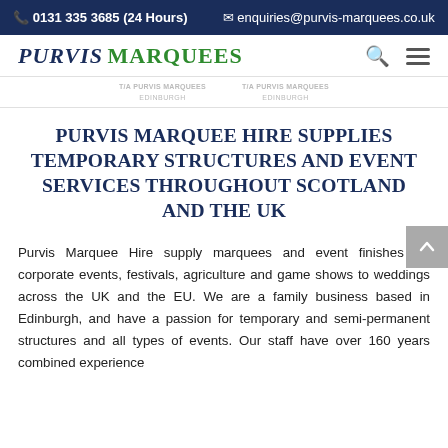0131 335 3685 (24 Hours)  enquiries@purvis-marquees.co.uk
[Figure (logo): Purvis Marquees logo with italic serif font, PURVIS in dark navy and MARQUEES in green]
[Figure (other): Two certification badge logos reading T/A PURVIS MARQUEES EDINBURGH]
PURVIS MARQUEE HIRE SUPPLIES TEMPORARY STRUCTURES AND EVENT SERVICES THROUGHOUT SCOTLAND AND THE UK
Purvis Marquee Hire supply marquees and event finishes for corporate events, festivals, agriculture and game shows to weddings across the UK and the EU. We are a family business based in Edinburgh, and have a passion for temporary and semi-permanent structures and all types of events. Our staff have over 160 years combined experience